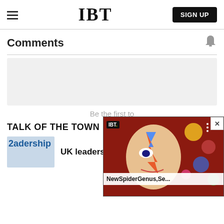IBT
Comments
Be the first to
TALK OF THE TOWN
[Figure (screenshot): Video popup overlay showing IBT logo and title 'NewSpiderGenus,Se...' with a colorful painted face image and close button X]
UK leadership candidate
[Figure (photo): Thumbnail image showing text 'leadership' with a person below]